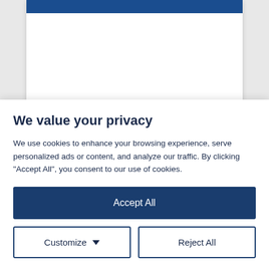[Figure (screenshot): Partial view of a webpage with a dark blue header bar and light background, showing the text 'Going live to production can be' partially visible]
We value your privacy
We use cookies to enhance your browsing experience, serve personalized ads or content, and analyze our traffic. By clicking "Accept All", you consent to our use of cookies.
Accept All
Customize
Reject All